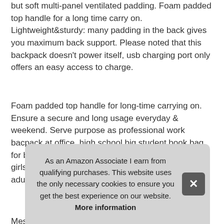but soft multi-panel ventilated padding. Foam padded top handle for a long time carry on. Lightweight&sturdy: many padding in the back gives you maximum back support. Please noted that this backpack doesn't power itself, usb charging port only offers an easy access to charge.
Foam padded top handle for long-time carrying on. Ensure a secure and long usage everyday & weekend. Serve purpose as professional work bacpack at office, high school big student book bag for boys, slim fashion bagpack with usb port, teens, girls, college bookbag, travel personal carryon for adults.
More information #ad
Mes Safe lugg for e
As an Amazon Associate I earn from qualifying purchases. This website uses the only necessary cookies to ensure you get the best experience on our website. More information